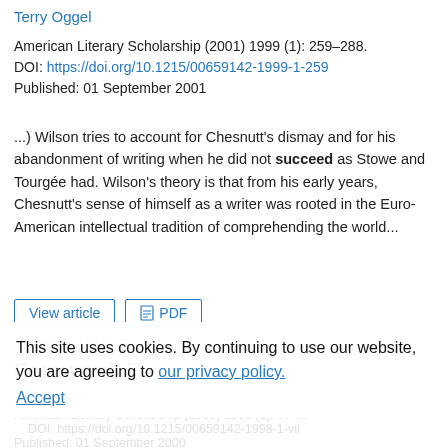Terry Oggel
American Literary Scholarship (2001) 1999 (1): 259–288.
DOI: https://doi.org/10.1215/00659142-1999-1-259
Published: 01 September 2001
...) Wilson tries to account for Chesnutt's dismay and for his abandonment of writing when he did not succeed as Stowe and Tourgée had. Wilson's theory is that from his early years, Chesnutt's sense of himself as a writer was rooted in the Euro- American intellectual tradition of comprehending the world...
View article | PDF
JOURNAL ARTICLE
Foreword
David J. Nordloh
This site uses cookies. By continuing to use our website, you are agreeing to our privacy policy.
Accept